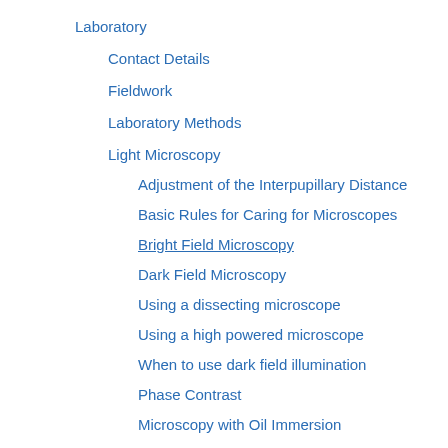Laboratory
Contact Details
Fieldwork
Laboratory Methods
Light Microscopy
Adjustment of the Interpupillary Distance
Basic Rules for Caring for Microscopes
Bright Field Microscopy
Dark Field Microscopy
Using a dissecting microscope
Using a high powered microscope
When to use dark field illumination
Phase Contrast
Microscopy with Oil Immersion